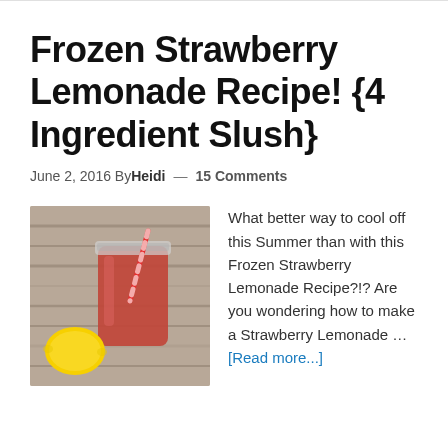Frozen Strawberry Lemonade Recipe! {4 Ingredient Slush}
June 2, 2016 By Heidi — 15 Comments
[Figure (photo): A mason jar filled with frozen strawberry lemonade slush with a red striped straw, a yellow lemon beside it on a wooden surface.]
What better way to cool off this Summer than with this Frozen Strawberry Lemonade Recipe?!? Are you wondering how to make a Strawberry Lemonade … [Read more...]